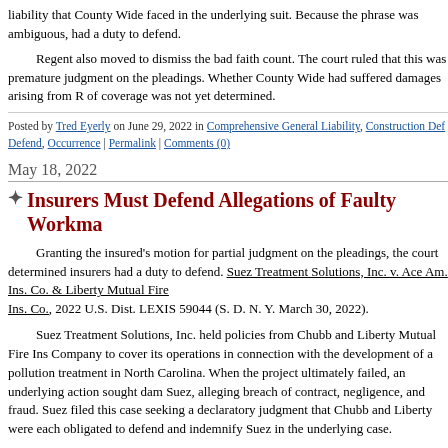liability that County Wide faced in the underlying suit. Because the phrase was ambiguous, had a duty to defend.
Regent also moved to dismiss the bad faith count. The court ruled that this was premature judgment on the pleadings. Whether County Wide had suffered damages arising from R of coverage was not yet determined.
Posted by Tred Eyerly on June 29, 2022 in Comprehensive General Liability, Construction Def Defend, Occurrence | Permalink | Comments (0)
May 18, 2022
Insurers Must Defend Allegations of Faulty Workma
Granting the insured's motion for partial judgment on the pleadings, the court determined insurers had a duty to defend. Suez Treatment Solutions, Inc. v. Ace Am. Ins. Co. & Liberty Mutual Fire Ins. Co., 2022 U.S. Dist. LEXIS 59044 (S. D. N. Y. March 30, 2022).
Suez Treatment Solutions, Inc. held policies from Chubb and Liberty Mutual Fire Insurance Company to cover its operations in connection with the development of a pollution treatment in North Carolina. When the project ultimately failed, an underlying action sought damages from Suez, alleging breach of contract, negligence, and fraud. Suez filed this case seeking a declaratory judgment that Chubb and Liberty were each obligated to defend and indemnify Suez in the underlying case.
The City of High Point hired Suez to upgrade the facilities at its wastewater treatment plant in 2021. Because mercury levels were too high in emissions from sewage-sludge incineration, Suez began working on the installation of a Mercury Removal System. After installation, a leak developed in a component known as the heat exchanger. The leak caused the system to shut down and eventually repairs began.